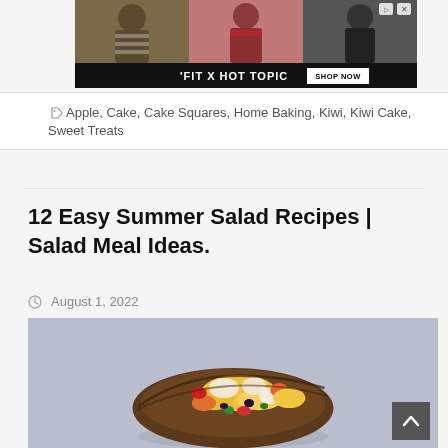[Figure (photo): Advertisement banner for 'FIT X HOT TOPIC' featuring three young people posing, with a 'SHOP NOW' button on dark background]
Apple, Cake, Cake Squares, Home Baking, Kiwi, Kiwi Cake, Sweet Treats
12 Easy Summer Salad Recipes | Salad Meal Ideas.
August 1, 2022
[Figure (photo): A colorful fruit salad served in a dark coconut shell bowl, with diced fruits including yellow, orange, red, and white pieces against a grey-blue background]